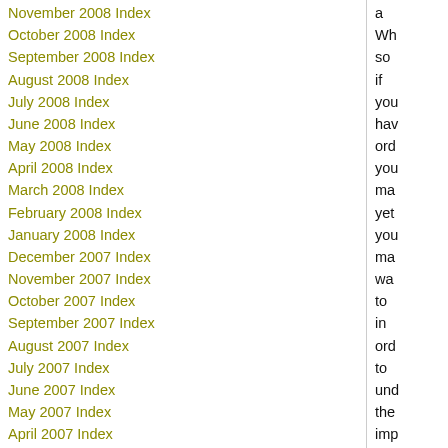November 2008 Index
October 2008 Index
September 2008 Index
August 2008 Index
July 2008 Index
June 2008 Index
May 2008 Index
April 2008 Index
March 2008 Index
February 2008 Index
January 2008 Index
December 2007 Index
November 2007 Index
October 2007 Index
September 2007 Index
August 2007 Index
July 2007 Index
June 2007 Index
May 2007 Index
April 2007 Index
March 2007 Index
February 2007 Index
January 2007 Index
December 2006 Index
November 2006 Index
a Wh so if you hav ord you ma yet you ma wa to in ord to und the imp of wh goi on this